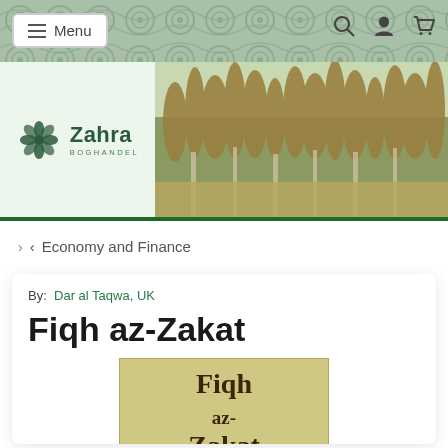Menu (navigation bar with hamburger menu, search, account, and cart icons)
[Figure (logo): Zahra Boghandel logo with stylized snowflake/flower icon and text 'Zahra BOGHANDEL' on a light background, alongside a forest/trees photo banner]
Economy and Finance
By: Dar al Taqwa, UK
Fiqh az-Zakat
[Figure (photo): Book cover of 'Fiqh az-Zakat' showing the title text in bold serif font on a light yellow/green background]